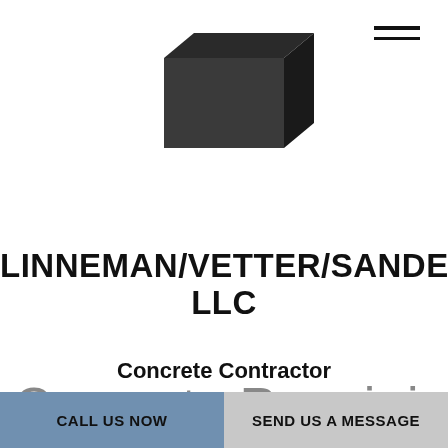[Figure (logo): 3D concrete block / brick logo rendered in dark grey/black, centered near top of page]
LINNEMAN/VETTER/SANDERS, LLC
Concrete Contractor
Concrete Repair in
CALL US NOW
SEND US A MESSAGE